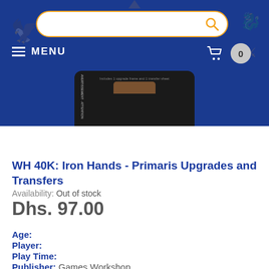[Figure (screenshot): Website header with blue background, search bar with orange border, hamburger menu icon and MENU text, shopping cart icon, and badge showing 0]
[Figure (photo): Product box for WH 40K Iron Hands Primaris Upgrades and Transfers on dark background showing Warhammer and Citadel logos]
WH 40K: Iron Hands - Primaris Upgrades and Transfers
Availability: Out of stock
Dhs. 97.00
Age:
Player:
Play Time:
Publisher: Games Workshop